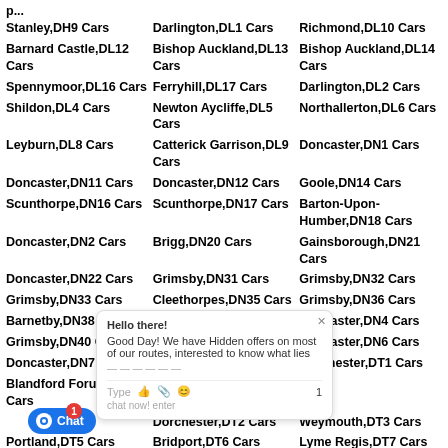Stanley,DH9 Cars
Darlington,DL1 Cars
Richmond,DL10 Cars
Barnard Castle,DL12 Cars
Bishop Auckland,DL13 Cars
Bishop Auckland,DL14 Cars
Spennymoor,DL16 Cars
Ferryhill,DL17 Cars
Darlington,DL2 Cars
Shildon,DL4 Cars
Newton Aycliffe,DL5 Cars
Northallerton,DL6 Cars
Leyburn,DL8 Cars
Catterick Garrison,DL9 Cars
Doncaster,DN1 Cars
Doncaster,DN11 Cars
Doncaster,DN12 Cars
Goole,DN14 Cars
Scunthorpe,DN16 Cars
Scunthorpe,DN17 Cars
Barton-Upon-Humber,DN18 Cars
Doncaster,DN2 Cars
Brigg,DN20 Cars
Gainsborough,DN21 Cars
Doncaster,DN22 Cars
Grimsby,DN31 Cars
Grimsby,DN32 Cars
Grimsby,DN33 Cars
Cleethorpes,DN35 Cars
Grimsby,DN36 Cars
Barnetby,DN38 Cars
Ulceby,DN39 Cars
Doncaster,DN4 Cars
Grimsby,DN40 Cars
Doncaster,DN5 Cars
Doncaster,DN6 Cars
Doncaster,DN7 Cars
Doncaster,DN9 Cars
Dorchester,DT1 Cars
Blandford Forum,DT11 Cars
Dorchester,DT2 Cars
Weymouth,DT3 Cars
Portland,DT5 Cars
Bridport,DT6 Cars
Lyme Regis,DT7 Cars